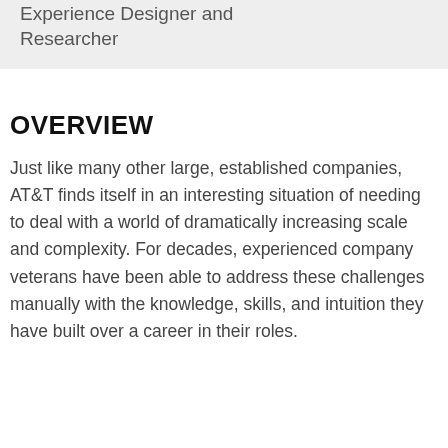Experience Designer and Researcher
OVERVIEW
Just like many other large, established companies, AT&T finds itself in an interesting situation of needing to deal with a world of dramatically increasing scale and complexity. For decades, experienced company veterans have been able to address these challenges manually with the knowledge, skills, and intuition they have built over a career in their roles.